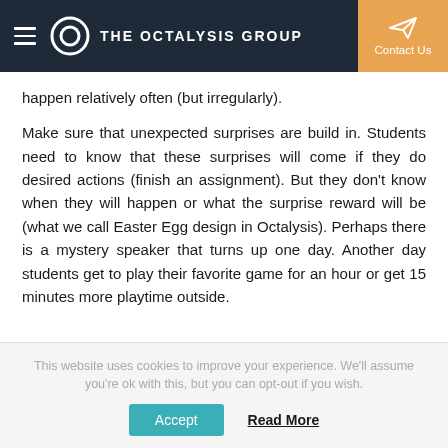THE OCTALYSIS GROUP
happen relatively often (but irregularly).
Make sure that unexpected surprises are build in. Students need to know that these surprises will come if they do desired actions (finish an assignment). But they don't know when they will happen or what the surprise reward will be (what we call Easter Egg design in Octalysis). Perhaps there is a mystery speaker that turns up one day. Another day students get to play their favorite game for an hour or get 15 minutes more playtime outside.
This website uses cookies to improve your experience. We'll assume you're ok with this, but you can opt-out if you wish.